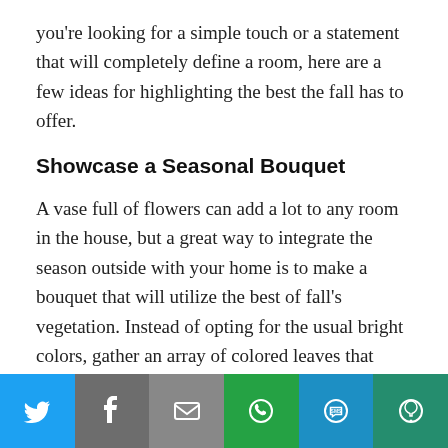you're looking for a simple touch or a statement that will completely define a room, here are a few ideas for highlighting the best the fall has to offer.
Showcase a Seasonal Bouquet
A vase full of flowers can add a lot to any room in the house, but a great way to integrate the season outside with your home is to make a bouquet that will utilize the best of fall's vegetation. Instead of opting for the usual bright colors, gather an array of colored leaves that strike your fancy and add a collection of branches to a vase that suits the purpose. If arranged right, this can be a striking and unique
[Figure (other): Social share bar with buttons for Twitter, Facebook, Email, WhatsApp, SMS, and More]